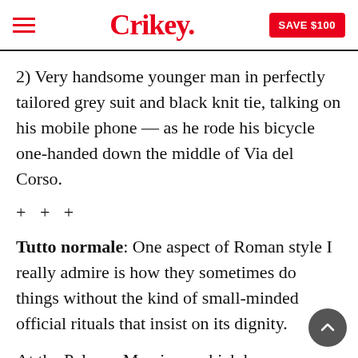Crikey. | SAVE $100
2) Very handsome younger man in perfectly tailored grey suit and black knit tie, talking on his mobile phone — as he rode his bicycle one-handed down the middle of Via del Corso.
+ + +
Tutto normale: One aspect of Roman style I really admire is how they sometimes do things without the kind of small-minded official rituals that insist on its dignity.
At the Palazzo Massimo, which houses a mind-blowing collection of ancient sculptures and murals, I watched museum staff wheel in a box, unpack a